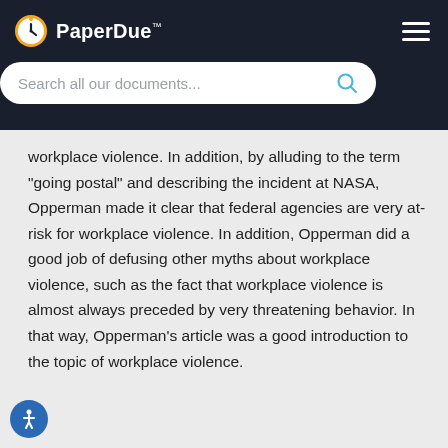PaperDue™
workplace violence. In addition, by alluding to the term "going postal" and describing the incident at NASA, Opperman made it clear that federal agencies are very at-risk for workplace violence. In addition, Opperman did a good job of defusing other myths about workplace violence, such as the fact that workplace violence is almost always preceded by very threatening behavior. In that way, Opperman's article was a good introduction to the topic of workplace violence.